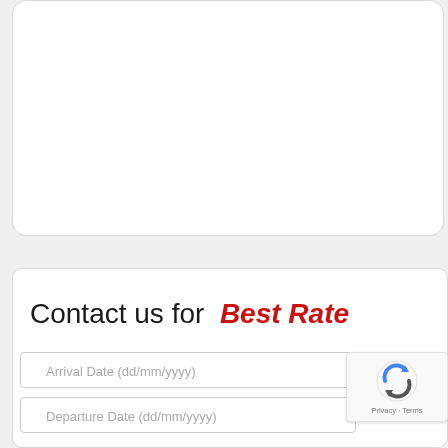[Figure (other): White rounded card panel (empty content area)]
Contact us for Best Rate
Arrival Date (dd/mm/yyyy)
Departure Date (dd/mm/yyyy)